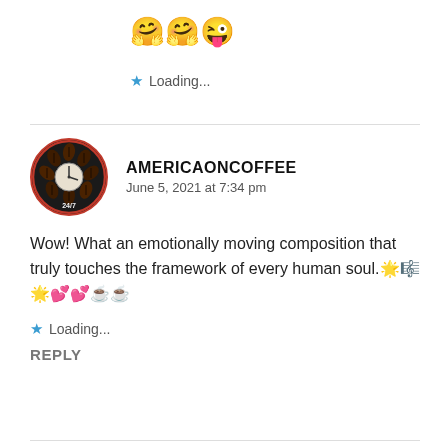🤗🤗😜
★ Loading...
AMERICAONCOFFEE
June 5, 2021 at 7:34 pm
Wow! What an emotionally moving composition that truly touches the framework of every human soul. 🌟🎼🌟💕💕☕☕
★ Loading...
REPLY